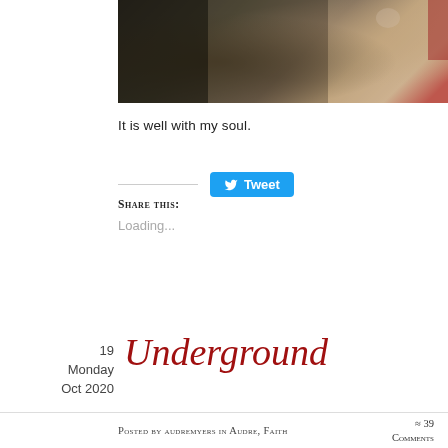[Figure (photo): Partial photo of two people, one in a dark jacket and one in a tan/beige jacket, cropped at the torso level against a dark background]
It is well with my soul.
[Figure (other): Tweet button with Twitter bird icon]
Share this:
Loading...
19
Monday
Oct 2020
Underground
Posted by audremyers in Audre, Faith
≈ 39 Comments